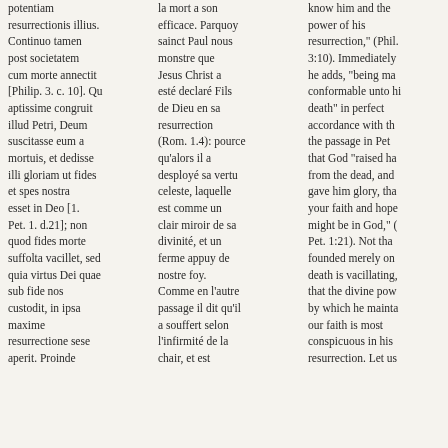potentiam resurrectionis illius. Continuo tamen post societatem cum morte annectit [Philip. 3. c. 10]. Qu aptissime congruit illud Petri, Deum suscitasse eum a mortuis, et dedisse illi gloriam ut fides et spes nostra esset in Deo [1. Pet. 1. d.21]; non quod fides morte suffolta vacillet, sed quia virtus Dei quae sub fide nos custodit, in ipsa maxime resurrectione sese aperit. Proinde
la mort a son efficace. Parquoy sainct Paul nous monstre que Jesus Christ a esté declaré Fils de Dieu en sa resurrection (Rom. 1.4): pource qu'alors il a desployé sa vertu celeste, laquelle est comme un clair miroir de sa divinité, et un ferme appuy de nostre foy. Comme en l'autre passage il dit qu'il a souffert selon l'infirmité de la chair, et est
know him and the power of his resurrection," (Phil. 3:10). Immediately he adds, "being made conformable unto his death" in perfect accordance with the passage in Peter, that God "raised him from the dead, and gave him glory, that your faith and hope might be in God," (1 Pet. 1:21). Not that faith founded merely on death is vacillating, but that the divine power by which he maintains our faith is most conspicuous in his resurrection. Let us